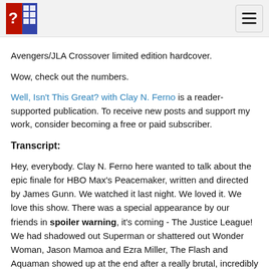[Logo] Well, Isn't This Great? with Clay N. Ferno [hamburger menu]
Avengers/JLA Crossover limited edition hardcover.
Wow, check out the numbers.
Well, Isn't This Great? with Clay N. Ferno is a reader-supported publication. To receive new posts and support my work, consider becoming a free or paid subscriber.
Transcript:
Hey, everybody. Clay N. Ferno here wanted to talk about the epic finale for HBO Max's Peacemaker, written and directed by James Gunn. We watched it last night. We loved it. We love this show. There was a special appearance by our friends in spoiler warning, it's coming - The Justice League! We had shadowed out Superman or shattered out Wonder Woman, Jason Mamoa and Ezra Miller, The Flash and Aquaman showed up at the end after a really brutal, incredibly violent, incredibly funny show. And one thing that I really like about the